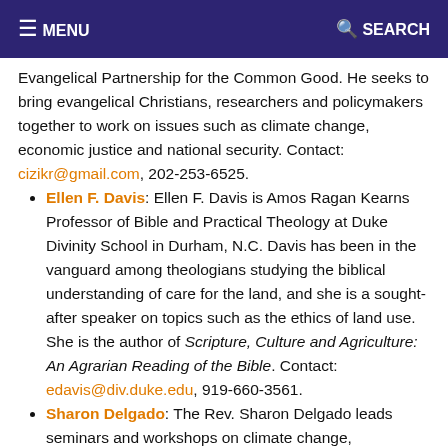≡ MENU   🔍 SEARCH
Evangelical Partnership for the Common Good. He seeks to bring evangelical Christians, researchers and policymakers together to work on issues such as climate change, economic justice and national security. Contact: cizikr@gmail.com, 202-253-6525.
Ellen F. Davis: Ellen F. Davis is Amos Ragan Kearns Professor of Bible and Practical Theology at Duke Divinity School in Durham, N.C. Davis has been in the vanguard among theologians studying the biblical understanding of care for the land, and she is a sought-after speaker on topics such as the ethics of land use. She is the author of Scripture, Culture and Agriculture: An Agrarian Reading of the Bible. Contact: edavis@div.duke.edu, 919-660-3561.
Sharon Delgado: The Rev. Sharon Delgado leads seminars and workshops on climate change, environmental justice and the relationship between spirituality and social action. She is an ordained United Methodist minister and founded the Climate Justice Action Network, which brings together Methodists interested in environmental activism.